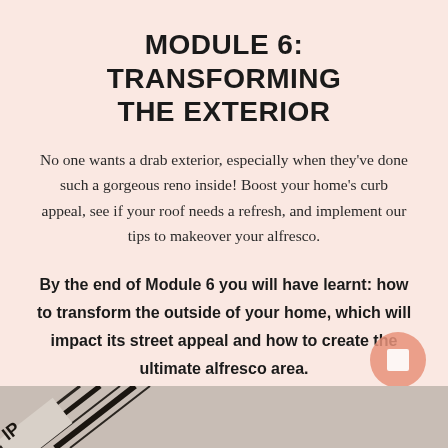MODULE 6: TRANSFORMING THE EXTERIOR
No one wants a drab exterior, especially when they've done such a gorgeous reno inside! Boost your home's curb appeal, see if your roof needs a refresh, and implement our tips to makeover your alfresco.
By the end of Module 6 you will have learnt: how to transform the outside of your home, which will impact its street appeal and how to create the ultimate alfresco area.
[Figure (photo): Partial bottom photo strip showing printed materials or books at an angle, dark lines on light background]